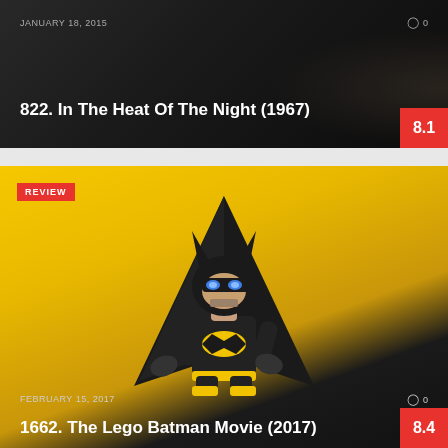[Figure (photo): Dark movie still background for 'In The Heat Of The Night (1967)' card]
JANUARY 18, 2015
0
822. In The Heat Of The Night (1967)
8.1
[Figure (photo): Lego Batman movie promotional image showing LEGO Batman figure with glowing blue eyes against yellow and dark background with 'REVIEW' badge]
REVIEW
FEBRUARY 15, 2017
0
1662. The Lego Batman Movie (2017)
8.4